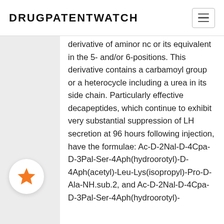DRUGPATENTWATCH
derivative of aminor nc or its equivalent in the 5- and/or 6-positions. This derivative contains a carbamoyl group or a heterocycle including a urea in its side chain. Particularly effective decapeptides, which continue to exhibit very substantial suppression of LH secretion at 96 hours following injection, have the formulae: Ac-D-2Nal-D-4Cpa-D-3Pal-Ser-4Aph(hydroorotyl)-D-4Aph(acetyl)-Leu-Lys(isopropyl)-Pro-D-Ala-NH.sub.2, and Ac-D-2Nal-D-4Cpa-D-3Pal-Ser-4Aph(hydroorotyl)-